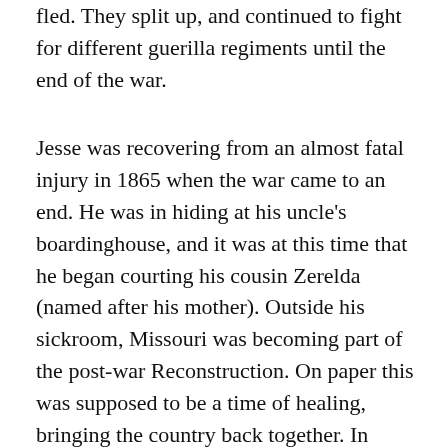fled. They split up, and continued to fight for different guerilla regiments until the end of the war.
Jesse was recovering from an almost fatal injury in 1865 when the war came to an end. He was in hiding at his uncle's boardinghouse, and it was at this time that he began courting his cousin Zerelda (named after his mother). Outside his sickroom, Missouri was becoming part of the post-war Reconstruction. On paper this was supposed to be a time of healing, bringing the country back together. In practice, it became a chance to settle old scores. Anyone who had supported the Confederates were barred from